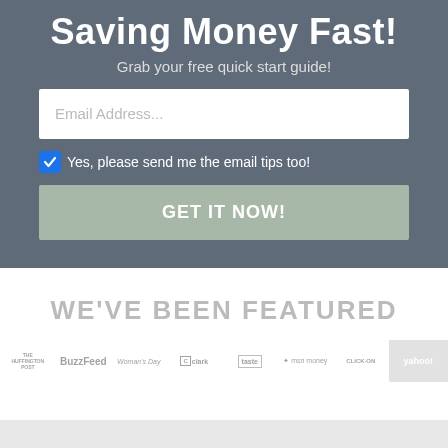Saving Money Fast!
Grab your free quick start guide!
[Figure (screenshot): Email address input field with placeholder text 'Email Address...']
Yes, please send me the email tips too!
GET IT NOW!
WE'VE BEEN FEATURED
[Figure (logo): Row of media logos: The Huffington Post, BuzzFeed, Woman's Day, Clark, Taste of Home, MSN Money, ClickOn, Yahoo]